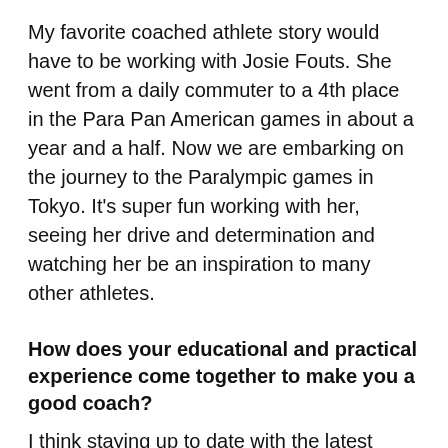My favorite coached athlete story would have to be working with Josie Fouts. She went from a daily commuter to a 4th place in the Para Pan American games in about a year and a half. Now we are embarking on the journey to the Paralympic games in Tokyo. It's super fun working with her, seeing her drive and determination and watching her be an inspiration to many other athletes.
How does your educational and practical experience come together to make you a good coach?
I think staying up to date with the latest sports science is very important but it's pretty hard to actually apply the science in the right context. Having the practical experience not only helps me